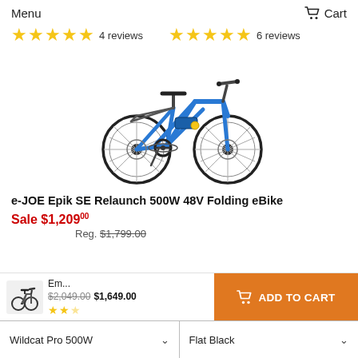Menu   Cart
★★★★★ 4 reviews   ★★★★★ 6 reviews
[Figure (photo): Blue folding electric bicycle (e-JOE Epik SE Relaunch 500W 48V Folding eBike)]
e-JOE Epik SE Relaunch 500W 48V Folding eBike
Sale $1,209.00
Reg. $1,799.00
Em... $2,049.00 $1,649.00 ★★☆ ADD TO CART
Wildcat Pro 500W   Flat Black